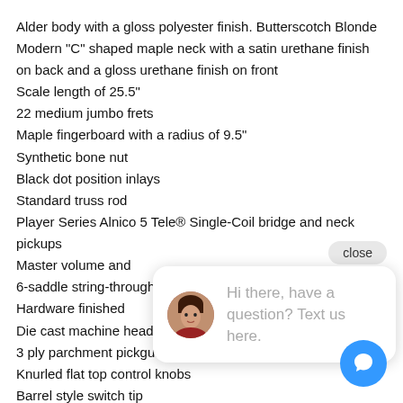Alder body with a gloss polyester finish. Butterscotch Blonde
Modern "C" shaped maple neck with a satin urethane finish on back and a gloss urethane finish on front
Scale length of 25.5"
22 medium jumbo frets
Maple fingerboard with a radius of 9.5"
Synthetic bone nut
Black dot position inlays
Standard truss rod
Player Series Alnico 5 Tele® Single-Coil bridge and neck pickups
Master volume and
6-saddle string-through saddles
Hardware finished
Die cast machine heads
3 ply parchment pickguard
Knurled flat top control knobs
Barrel style switch tip
[Figure (screenshot): Chat popup with avatar photo of a woman, text 'Hi there, have a question? Text us here.' and a close button. Blue chat icon button in bottom right.]